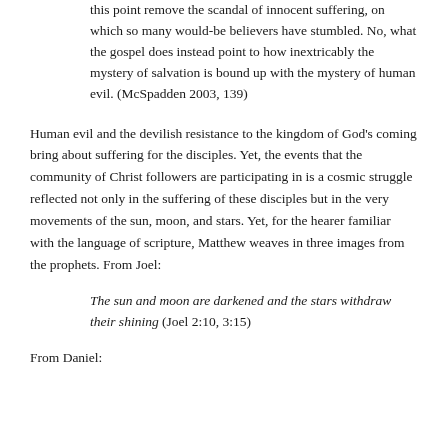this point remove the scandal of innocent suffering, on which so many would-be believers have stumbled. No, what the gospel does instead point to how inextricably the mystery of salvation is bound up with the mystery of human evil. (McSpadden 2003, 139)
Human evil and the devilish resistance to the kingdom of God’s coming bring about suffering for the disciples. Yet, the events that the community of Christ followers are participating in is a cosmic struggle reflected not only in the suffering of these disciples but in the very movements of the sun, moon, and stars. Yet, for the hearer familiar with the language of scripture, Matthew weaves in three images from the prophets. From Joel:
The sun and moon are darkened and the stars withdraw their shining (Joel 2:10, 3:15)
From Daniel: